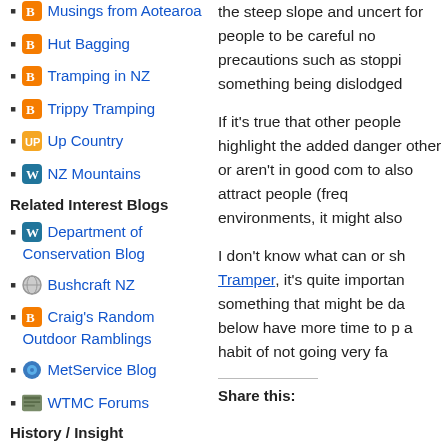Musings from Aotearoa
Hut Bagging
Tramping in NZ
Trippy Tramping
Up Country
NZ Mountains
Related Interest Blogs
Department of Conservation Blog
Bushcraft NZ
Craig's Random Outdoor Ramblings
MetService Blog
WTMC Forums
History / Insight
envirohistory NZ
the steep slope and uncert for people to be careful no precautions such as stoppi something being dislodged
If it's true that other people highlight the added danger other or aren't in good com to also attract people (freq environments, it might also
I don't know what can or sh Tramper, it's quite importan something that might be da below have more time to p a habit of not going very fa
Share this: